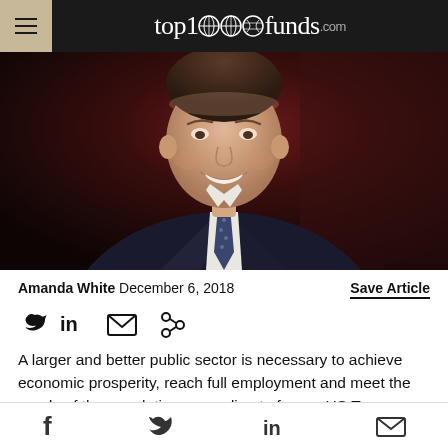top1000funds.com
[Figure (photo): Portrait photo of a smiling man in a dark suit, white shirt, and patterned tie against a dark red background]
Amanda White  December 6, 2018    Save Article
[Figure (infographic): Social sharing icons: Twitter bird, LinkedIn 'in', email envelope, share arrow]
A larger and better public sector is necessary to achieve economic prosperity, reach full employment and meet the needs of the population, according to former US Treasury
f  (Twitter bird)  in  (email envelope)